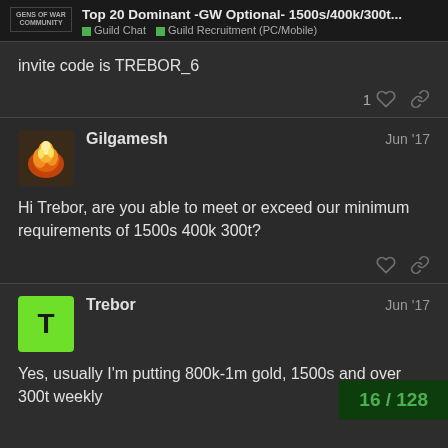Top 20 Dominant -GW Optional- 1500s/400k/300t... | Guild Chat | Guild Recruitment (PC/Mobile)
invite code is TREBOR_6
Gilgamesh   Jun '17
Hi Trebor, are you able to meet or exceed our minimum requirements of 1500s 400k 300t?
Trebor   Jun '17
Yes, usually I'm putting 800k-1m gold, 1500s and over 300t weekly